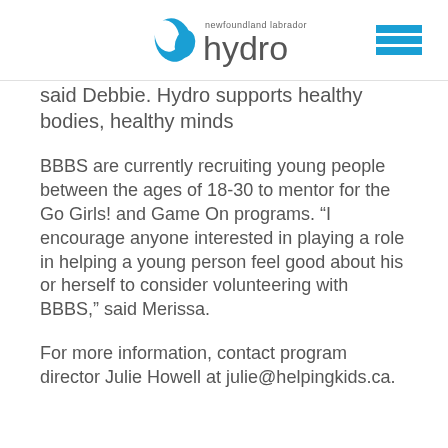[Figure (logo): Newfoundland Labrador Hydro logo with stylized N and water drop icon in blue, with hamburger menu icon on the right]
said Debbie. Hydro supports healthy bodies, healthy minds
BBBS are currently recruiting young people between the ages of 18-30 to mentor for the Go Girls! and Game On programs. “I encourage anyone interested in playing a role in helping a young person feel good about his or herself to consider volunteering with BBBS,” said Merissa.
For more information, contact program director Julie Howell at julie@helpingkids.ca.